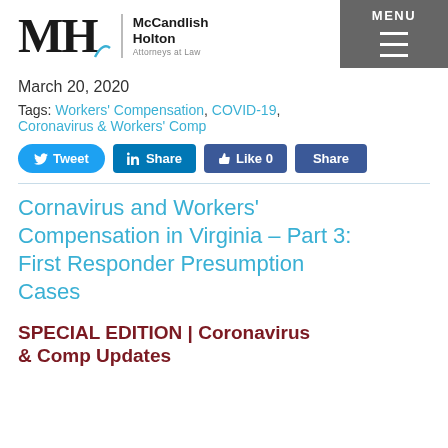MH | McCandlish Holton Attorneys at Law | MENU
March 20, 2020
Tags: Workers' Compensation, COVID-19, Coronavirus & Workers' Comp
[Figure (other): Social media share buttons: Tweet, LinkedIn Share, Facebook Like 0, Facebook Share]
Cornavirus and Workers' Compensation in Virginia – Part 3: First Responder Presumption Cases
SPECIAL EDITION | Coronavirus & Comp Updates